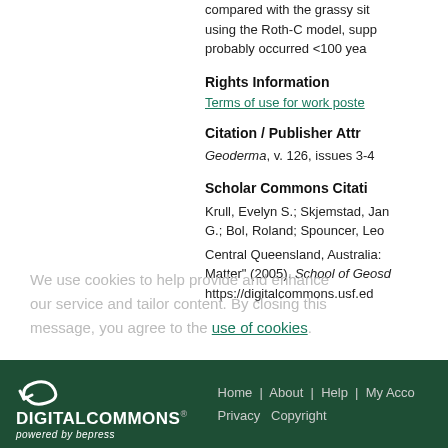compared with the grassy sit using the Roth-C model, supp probably occurred <100 yea
Rights Information
Terms of use for work poste
Citation / Publisher Attr
Geoderma, v. 126, issues 3-4
Scholar Commons Citati
Krull, Evelyn S.; Skjemstad, Jan G.; Bol, Roland; Spouncer, Leo Central Queensland, Australia: Matter" (2005). School of Geoso https://digitalcommons.usf.ed
We use cookies to help provide and enhance our service and tailor content. By closing this message, you agree to the use of cookies.
Home | About | Help | My Acco Privacy Copyright